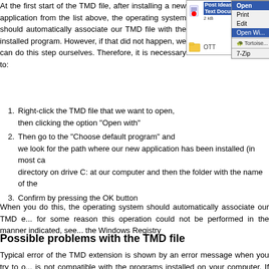At the first start of the TMD file, after installing a new application from the list above, the operating system should automatically associate our TMD file with the installed program. However, if that did not happen, we can do this step ourselves. Therefore, it is necessary to:
[Figure (screenshot): Windows context menu screenshot showing a TMD file (Post Ideas, Text Document, 2 kB) and a folder (OTT) with a right-click context menu displaying options: Open (highlighted), Print, Edit, Open With (highlighted in blue), TortoiseSVN, 7-Zip]
Right-click the TMD file that we want to open, then clicking the option "Open with"
Then go to the "Choose default program" and we look for the path where our new application has been installed (in most ca... directory on drive C: at our computer and then the folder with the name of the...
Confirm by pressing the OK button
When you do this, the operating system should automatically associate our TMD e... for some reason this operation could not be performed in the manner indicated, see... the Windows Registry
Possible problems with the TMD file
Typical error of the TMD extension is shown by an error message when you try to o... is not compatible with the programs installed on your computer. If while trying to o... able to locate a particular program, the following errors may be displayed "No sc... "Invalid file extension: undefined", "Incompatible file extension and file table", "In...